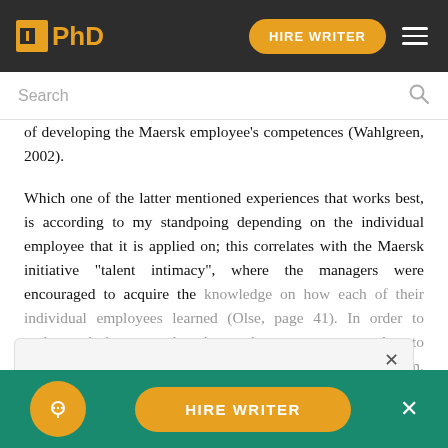IPhD | HIRE WRITER
of developing the Maersk employee's competences (Wahlgreen, 2002).
Which one of the latter mentioned experiences that works best, is according to my standpoing depending on the individual employee that it is applied on; this correlates with the Maersk initiative "talent intimacy", where the managers were encouraged to acquire the knowledge on how each of their individual employees learned (Olse, page 41). In order to understand the terms learning and competence, one has to understand the similarities and contrasts between them. According to Hermann learning is a process were competencies is
We use cookies to give you the best experience possible. By continuing we'll assume you're on board with our cookie policy
HIRE WRITER